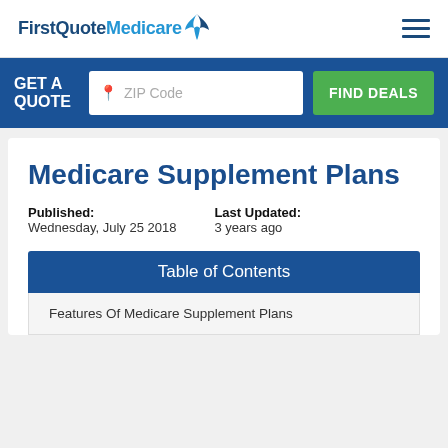FirstQuoteMedicare
GET A QUOTE — ZIP Code — FIND DEALS
Medicare Supplement Plans
Published: Wednesday, July 25 2018   Last Updated: 3 years ago
Table of Contents
Features Of Medicare Supplement Plans